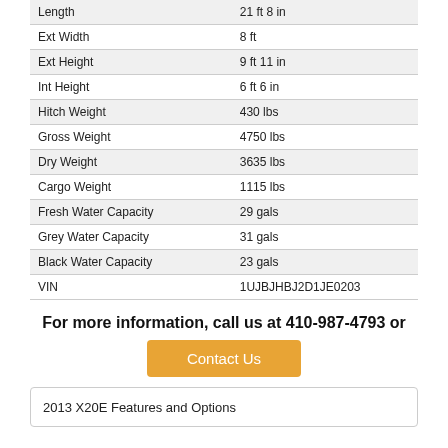| Length | 21 ft 8 in |
| Ext Width | 8 ft |
| Ext Height | 9 ft 11 in |
| Int Height | 6 ft 6 in |
| Hitch Weight | 430 lbs |
| Gross Weight | 4750 lbs |
| Dry Weight | 3635 lbs |
| Cargo Weight | 1115 lbs |
| Fresh Water Capacity | 29 gals |
| Grey Water Capacity | 31 gals |
| Black Water Capacity | 23 gals |
| VIN | 1UJBJHBJ2D1JE0203 |
For more information, call us at 410-987-4793 or
Contact Us
2013 X20E Features and Options